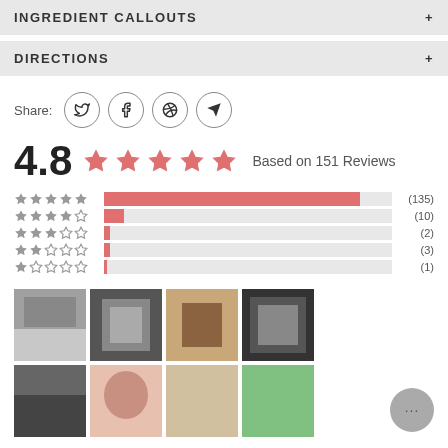INGREDIENT CALLOUTS
DIRECTIONS
Share:
[Figure (infographic): Rating overview: 4.8 out of 5 stars, based on 151 reviews. Bar chart showing star distribution: 5 stars (135), 4 stars (10), 3 stars (2), 2 stars (3), 1 star (1).]
[Figure (photo): Strip of product review photos]